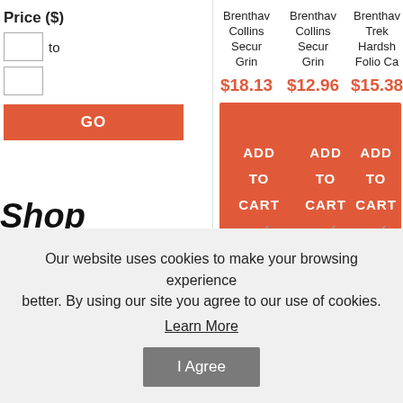Price ($)
to
GO
Shop By Category:
Phone Cases
Phone Covers
Brenthav Collins Secur Grin $18.13 ADD TO CART
Brenthav Collins Secur Grin $12.96 ADD TO CART
Brenthav Trek Hardsh Folio Ca $15.38 ADD TO CART
Our website uses cookies to make your browsing experience better. By using our site you agree to our use of cookies. Learn More
I Agree